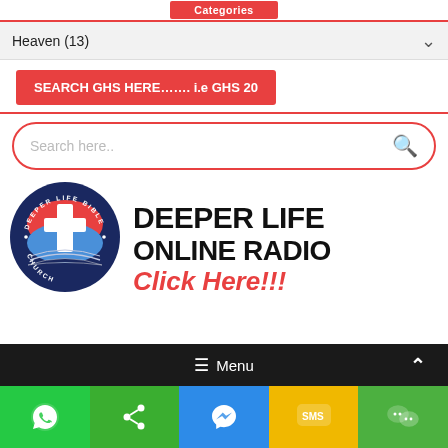[Figure (screenshot): Categories button at top in red]
Heaven (13)
SEARCH GHS HERE……. i.e GHS 20
Search here..
[Figure (logo): Deeper Life Bible Church logo circle with cross and open bible, next to text DEEPER LIFE ONLINE RADIO Click Here!!!]
☰ Menu
WhatsApp, Share, Messenger, SMS, WeChat social buttons at bottom